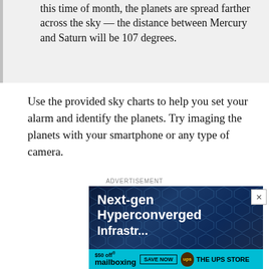this time of month, the planets are spread farther across the sky — the distance between Mercury and Saturn will be 107 degrees.
Use the provided sky charts to help you set your alarm and identify the planets. Try imaging the planets with your smartphone or any type of camera.
ADVERTISEMENT
[Figure (other): Advertisement banner: Next-gen Hyperconverged infrastructure ad with dark blue hexagonal background, and a bottom cyan bar showing '$50 off mailboxing SAVE NOW' with UPS The UPS Store branding.]